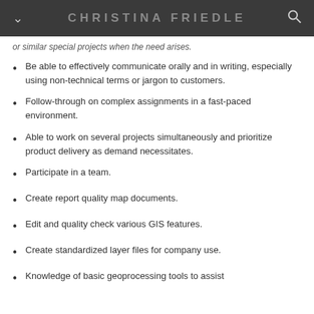CHRISTINA FRIEDLE
or similar special projects when the need arises.
Be able to effectively communicate orally and in writing, especially using non-technical terms or jargon to customers.
Follow-through on complex assignments in a fast-paced environment.
Able to work on several projects simultaneously and prioritize product delivery as demand necessitates.
Participate in a team.
Create report quality map documents.
Edit and quality check various GIS features.
Create standardized layer files for company use.
Knowledge of basic geoprocessing tools to assist